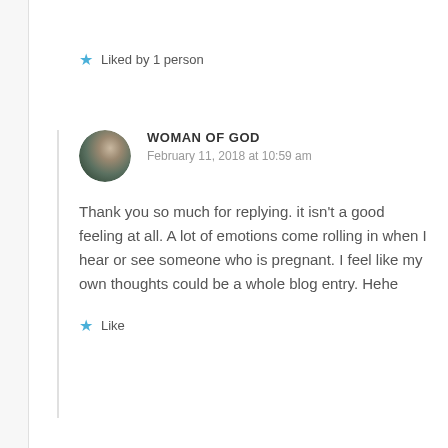★ Liked by 1 person
WOMAN OF GOD
February 11, 2018 at 10:59 am
Thank you so much for replying. it isn't a good feeling at all. A lot of emotions come rolling in when I hear or see someone who is pregnant. I feel like my own thoughts could be a whole blog entry. Hehe
★ Like